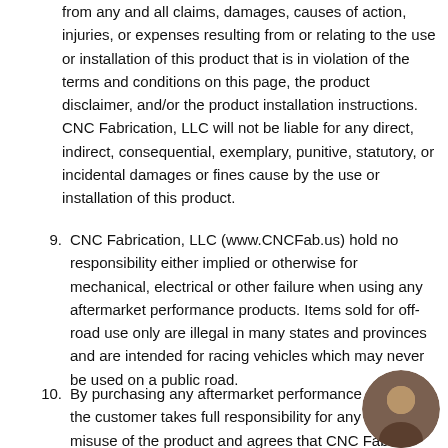from any and all claims, damages, causes of action, injuries, or expenses resulting from or relating to the use or installation of this product that is in violation of the terms and conditions on this page, the product disclaimer, and/or the product installation instructions. CNC Fabrication, LLC will not be liable for any direct, indirect, consequential, exemplary, punitive, statutory, or incidental damages or fines cause by the use or installation of this product.
9. CNC Fabrication, LLC (www.CNCFab.us) hold no responsibility either implied or otherwise for mechanical, electrical or other failure when using any aftermarket performance products. Items sold for off-road use only are illegal in many states and provinces and are intended for racing vehicles which may never be used on a public road.
10. By purchasing any aftermarket performance product, the customer takes full responsibility for any use or misuse of the product and agrees that CNC Fabrication, LLC holds no responsibility for...